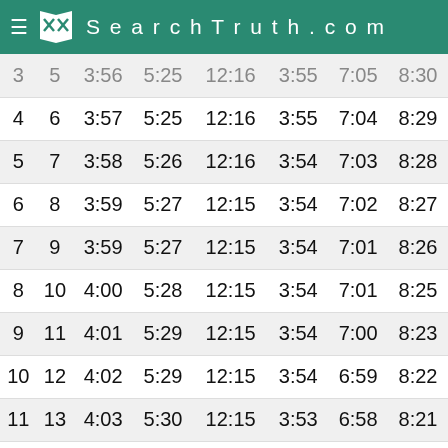≡  SearchTruth.com
| 3 | 5 | 3:56 | 5:25 | 12:16 | 3:55 | 7:05 | 8:30 |
| 4 | 6 | 3:57 | 5:25 | 12:16 | 3:55 | 7:04 | 8:29 |
| 5 | 7 | 3:58 | 5:26 | 12:16 | 3:54 | 7:03 | 8:28 |
| 6 | 8 | 3:59 | 5:27 | 12:15 | 3:54 | 7:02 | 8:27 |
| 7 | 9 | 3:59 | 5:27 | 12:15 | 3:54 | 7:01 | 8:26 |
| 8 | 10 | 4:00 | 5:28 | 12:15 | 3:54 | 7:01 | 8:25 |
| 9 | 11 | 4:01 | 5:29 | 12:15 | 3:54 | 7:00 | 8:23 |
| 10 | 12 | 4:02 | 5:29 | 12:15 | 3:54 | 6:59 | 8:22 |
| 11 | 13 | 4:03 | 5:30 | 12:15 | 3:53 | 6:58 | 8:21 |
| 12 | 14 | 4:04 | 5:30 | 12:15 | 3:53 | 6:57 | 8:20 |
| 13 | 15 | 4:05 | 5:31 | 12:15 | 3:53 | 6:56 | 8:19 |